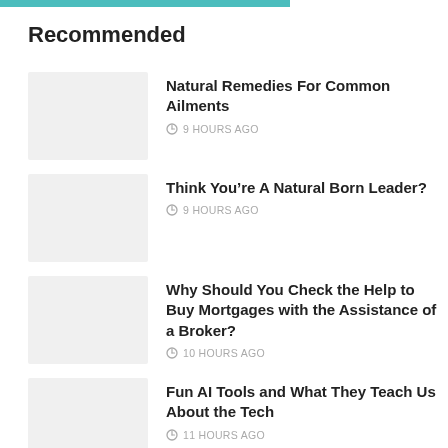Recommended
Natural Remedies For Common Ailments
9 HOURS AGO
Think You’re A Natural Born Leader?
9 HOURS AGO
Why Should You Check the Help to Buy Mortgages with the Assistance of a Broker?
10 HOURS AGO
Fun AI Tools and What They Teach Us About the Tech
11 HOURS AGO
Essential Things You Need To Know About Real Estate